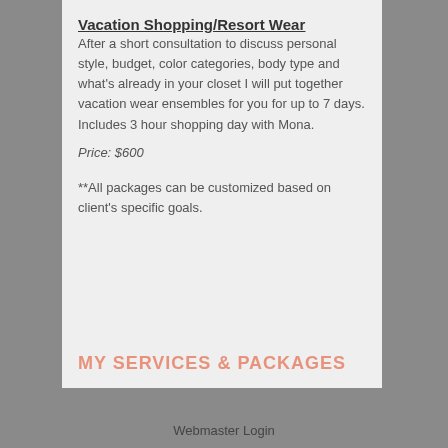Vacation Shopping/Resort Wear
After a short consultation to discuss personal style, budget, color categories, body type and what's already in your closet I will put together vacation wear ensembles for you for up to 7 days. Includes 3 hour shopping day with Mona.
Price: $600
**All packages can be customized based on client's specific goals.
MY SERVICES & PACKAGES
Webmaster Login